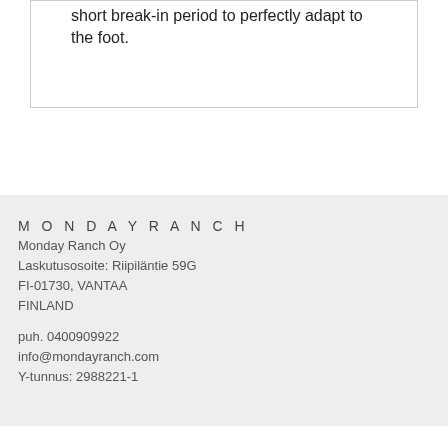short break-in period to perfectly adapt to the foot.
MONDAYRANCH
Monday Ranch Oy
Laskutusosoite: Riipiläntie 59G
FI-01730, VANTAA
FINLAND

puh. 0400909922
info@mondayranch.com
Y-tunnus: 2988221-1